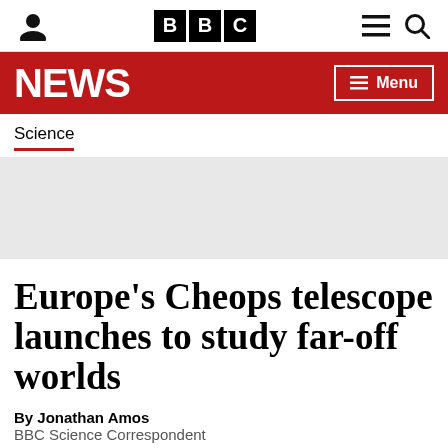BBC
Science
[Figure (other): Gray advertisement placeholder banner]
Europe's Cheops telescope launches to study far-off worlds
By Jonathan Amos
BBC Science Correspondent